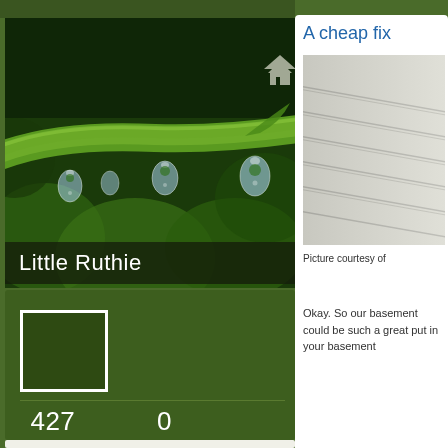[Figure (photo): Close-up photo of a green plant stem with water droplets hanging from it, dark green bokeh background]
Little Ruthie
[Figure (photo): Square avatar placeholder box with white border on dark green background]
427 FOLLOWING
0 FOLLOWERS
A cheap fix
[Figure (photo): Photo of white/grey painted horizontal siding boards, diagonal perspective]
Picture courtesy of
Okay. So our basement could be such a great put in your basement